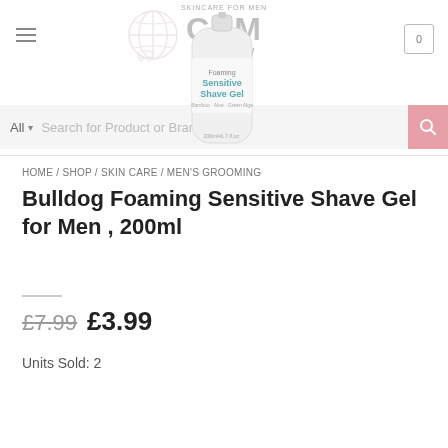[Figure (screenshot): Website header with CRM Global Ltd logo, hamburger menu, cart icon, search bar with 'All' dropdown and search input]
[Figure (photo): Bulldog Foaming Sensitive Shave Gel product bottle, 200ml, white cylindrical container with teal and grey label text]
HOME / SHOP / SKIN CARE / MEN'S GROOMING
Bulldog Foaming Sensitive Shave Gel for Men , 200ml
£7.99  £3.99
Units Sold: 2